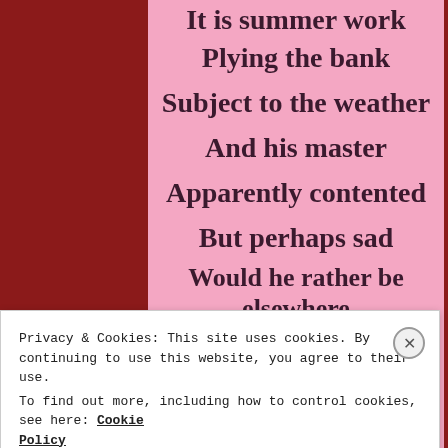It is summer work
Plying the bank
Subject to the weather
And his master
Apparently contented
But perhaps sad
Would he rather be elsewhere
But what would he know
Privacy & Cookies: This site uses cookies. By continuing to use this website, you agree to their use. To find out more, including how to control cookies, see here: Cookie Policy